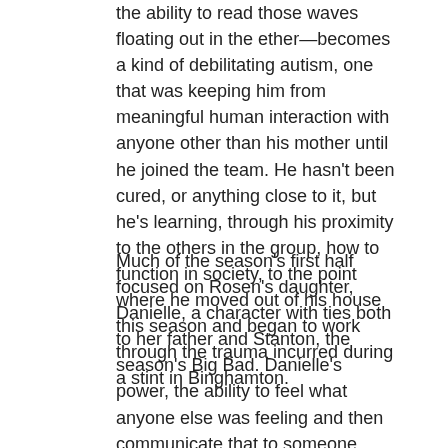the ability to read those waves floating out in the ether—becomes a kind of debilitating autism, one that was keeping him from meaningful human interaction with anyone other than his mother until he joined the team. He hasn't been cured, or anything close to it, but he's learning, through his proximity to the others in the group, how to function in society, to the point where he moved out of his house this season and began to work through the trauma incurred during a stint in Binghamton.
Much of the season's first half focused on Rosen's daughter, Danielle, a character with ties both to her father and Stanton, the season's Big Bad. Danielle's power, the ability to feel what anyone else was feeling and then communicate that to someone else, was in some ways the flipside of Hicks' ability: She had too much empathy, where he had too little. (Naturally, they started sleeping together.) A closer read of Danielle's arc—she died midway through the